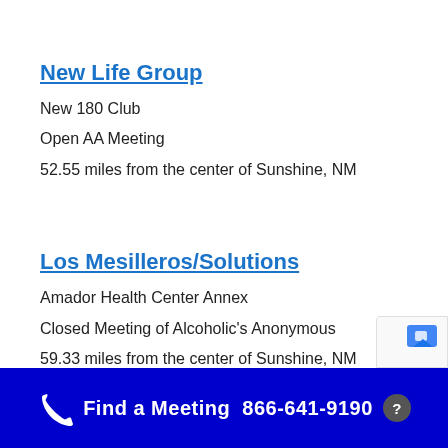New Life Group
New 180 Club
Open AA Meeting
52.55 miles from the center of Sunshine, NM
Los Mesilleros/Solutions
Amador Health Center Annex
Closed Meeting of Alcoholic's Anonymous
59.33 miles from the center of Sunshine, NM
Find a Meeting  866-641-9190